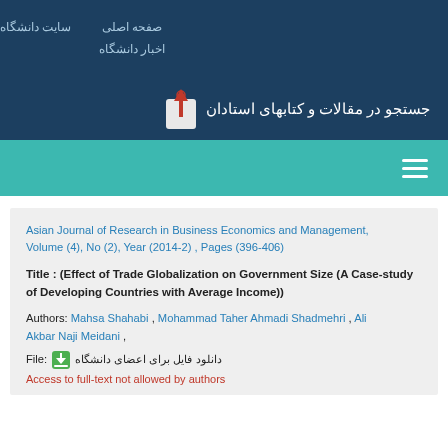صفحه اصلی  سایت دانشگاه
اخبار دانشگاه
جستجو در مقالات و کتابهای استادان
Asian Journal of Research in Business Economics and Management, Volume (4), No (2), Year (2014-2) , Pages (396-406)
Title : (Effect of Trade Globalization on Government Size (A Case-study of Developing Countries with Average Income))
Authors: Mahsa Shahabi , Mohammad Taher Ahmadi Shadmehri , Ali Akbar Naji Meidani ,
File: دانلود فایل برای اعضای دانشگاه
Access to full-text not allowed by authors